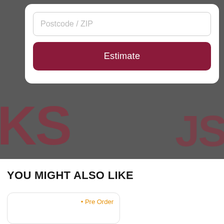[Figure (screenshot): E-commerce webpage screenshot showing a postcode/ZIP input field, an Estimate button on a dark background, and a 'You Might Also Like' section with a product card showing a Pre Order tag.]
Postcode / ZIP
Estimate
YOU MIGHT ALSO LIKE
• Pre Order